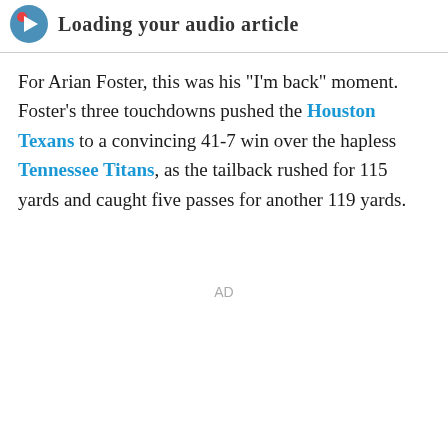Loading your audio article
For Arian Foster, this was his "I'm back" moment. Foster's three touchdowns pushed the Houston Texans to a convincing 41-7 win over the hapless Tennessee Titans, as the tailback rushed for 115 yards and caught five passes for another 119 yards.
AD